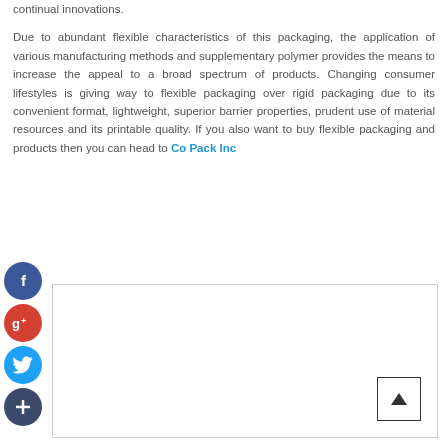continual innovations.

Due to abundant flexible characteristics of this packaging, the application of various manufacturing methods and supplementary polymer provides the means to increase the appeal to a broad spectrum of products. Changing consumer lifestyles is giving way to flexible packaging over rigid packaging due to its convenient format, lightweight, superior barrier properties, prudent use of material resources and its printable quality. If you also want to buy flexible packaging and products then you can head to Co Pack Inc
[Figure (infographic): Social media share icons: Facebook (blue circle with f), Google+ (red circle with g+), Twitter (light blue circle with bird), and a dark blue circle with plus sign. A bordered rectangular box region appears to the right and below the icons, with a back-to-top arrow button in the bottom right corner.]